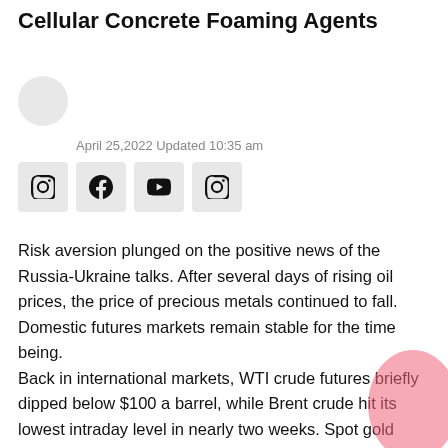Cellular Concrete Foaming Agents
April 25,2022 Updated 10:35 am
[Figure (other): Social media icons: Instagram, Facebook, YouTube, Instagram]
Risk aversion plunged on the positive news of the Russia-Ukraine talks. After several days of rising oil prices, the price of precious metals continued to fall. Domestic futures markets remain stable for the time being.
Back in international markets, WTI crude futures briefly dipped below $100 a barrel, while Brent crude hit its lowest intraday level in nearly two weeks. Spot gold briefly fell below $1,900 an ounce. Comex gold futures closed down 1.1 percent at $1,918.4 an ounce. Comex silver futures